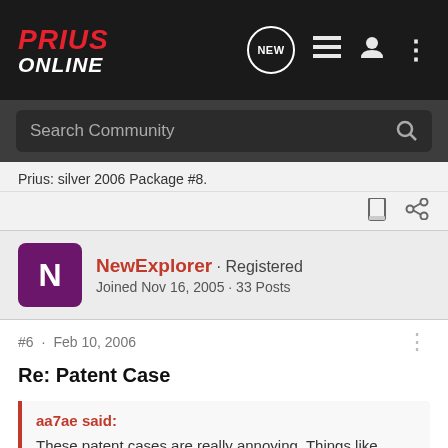Prius Online
Search Community
Prius: silver 2006 Package #8.
NewExplorer · Registered
Joined Nov 16, 2005 · 33 Posts
#6 · Feb 10, 2006
Re: Patent Case
aa7ae said:
These patent cases are really annoying. Things like Blackberry, SCO vs. Linux, and now this. Why did they wait so long before filing their complaint?